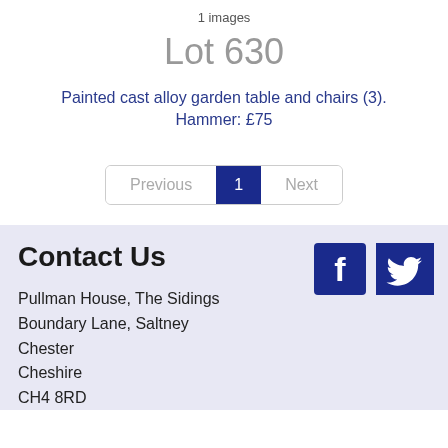1 images
Lot 630
Painted cast alloy garden table and chairs (3). Hammer: £75
Previous 1 Next
Contact Us
Pullman House, The Sidings
Boundary Lane, Saltney
Chester
Cheshire
CH4 8RD